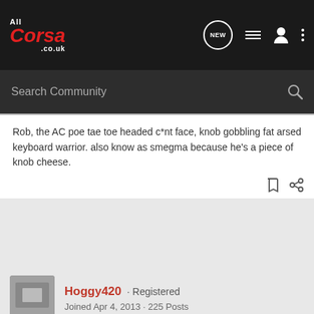AllCorsa.co.uk · Search Community
Rob, the AC poe tae toe headed c*nt face, knob gobbling fat arsed keyboard warrior. also know as smegma because he's a piece of knob cheese.
[Figure (photo): User avatar thumbnail for Hoggy420]
Hoggy420 · Registered
Joined Apr 4, 2013 · 225 Posts
Discussion Starter · #5 · Apr 9, 2013
I did it via ImageShack and then I posted them using the IMG